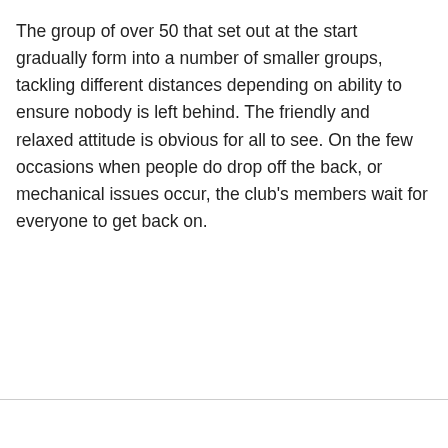The group of over 50 that set out at the start gradually form into a number of smaller groups, tackling different distances depending on ability to ensure nobody is left behind. The friendly and relaxed attitude is obvious for all to see. On the few occasions when people do drop off the back, or mechanical issues occur, the club's members wait for everyone to get back on.